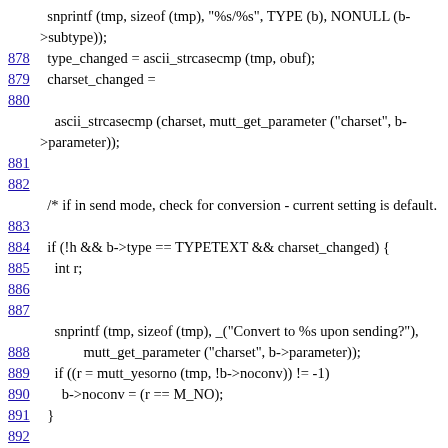snprintf (tmp, sizeof (tmp), "%s/%s", TYPE (b), NONULL (b->subtype));
878   type_changed = ascii_strcasecmp (tmp, obuf);
879   charset_changed =
880
ascii_strcasecmp (charset, mutt_get_parameter ("charset", b->parameter));
881
882
/* if in send mode, check for conversion - current setting is default.
883
884   if (!h && b->type == TYPETEXT && charset_changed) {
885     int r;
886
887
snprintf (tmp, sizeof (tmp), _("Convert to %s upon sending?"),
888             mutt_get_parameter ("charset", b->parameter));
889     if ((r = mutt_yesorno (tmp, !b->noconv)) != -1)
890       b->noconv = (r == M_NO);
891   }
892
893   /* inform the user */
894
895
snprintf (tmp, sizeof (tmp), "%s/%s", TYPE (b), NONULL (b-